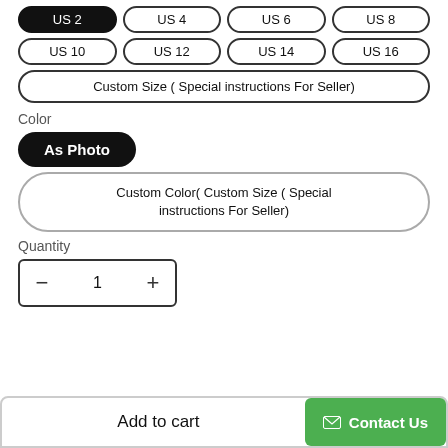US 2 (selected), US 4, US 6, US 8
US 10, US 12, US 14, US 16
Custom Size ( Special instructions For Seller)
Color
As Photo (selected)
Custom Color( Custom Size ( Special instructions For Seller)
Quantity
- 1 +
Add to cart
Contact Us